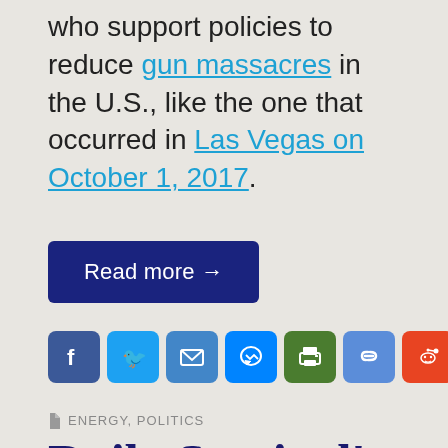who support policies to reduce gun massacres in the U.S., like the one that occurred in Las Vegas on October 1, 2017.
Read more →
[Figure (infographic): Row of social media share icons: Facebook, Twitter, Email, Messenger, Print, Copy link, Reddit, SMS, Gmail, More]
ENERGY, POLITICS
Daily Sentinel's